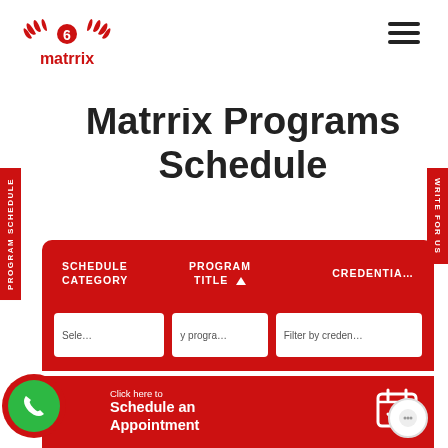matrrix
Matrrix Programs Schedule
| SCHEDULE CATEGORY | PROGRAM TITLE | CREDENTIAL |
| --- | --- | --- |
| Sele… | y progra… | Filter by creden… |
Click here to Schedule an Appointment